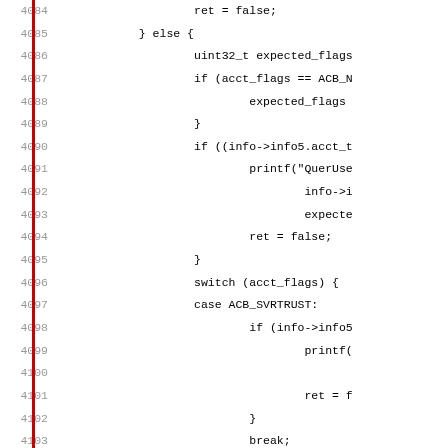[Figure (screenshot): Source code listing showing C code fragment with line numbers 4084-4115, featuring a red vertical bar on the left margin. The code shows conditional logic with else block containing uint32_t declaration, if statements, switch statement with cases ACB_SVRTRUST, ACB_WSTRUST, and ACB_NORMAL.]